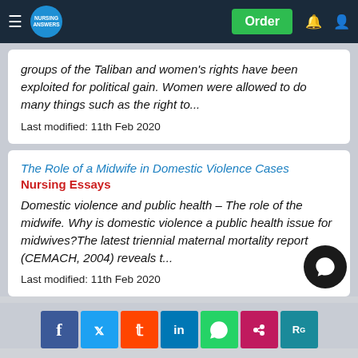Nursing Answers — Order
groups of the Taliban and women's rights have been exploited for political gain. Women were allowed to do many things such as the right to...
Last modified: 11th Feb 2020
The Role of a Midwife in Domestic Violence Cases
Nursing Essays
Domestic violence and public health – The role of the midwife. Why is domestic violence a public health issue for midwives?The latest triennial maternal mortality report (CEMACH, 2004) reveals t...
Last modified: 11th Feb 2020